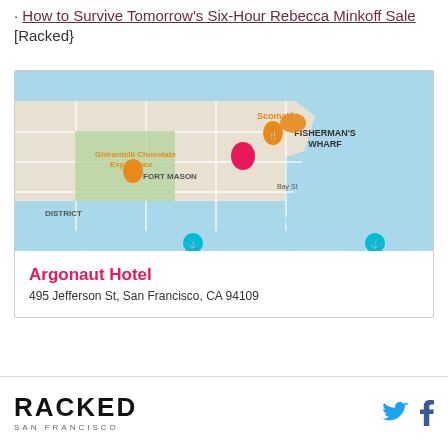· How to Survive Tomorrow's Six-Hour Rebecca Minkoff Sale [Racked}
[Figure (map): Google Maps screenshot showing Fisherman's Wharf area of San Francisco, with pins for Scoma's restaurant (orange), Ghirardelli Chocolate Experience (orange), and Argonaut Hotel (pink/magenta). Labels include FISHERMAN'S WHARF, Fort Mason, Bay St, DISTRICT.]
Argonaut Hotel
495 Jefferson St, San Francisco, CA 94109
RACKED SAN FRANCISCO